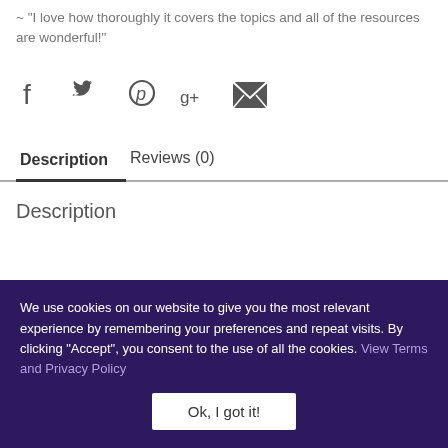~ "I love how thoroughly it covers the topics and all of the resources are wonderful!"
[Figure (other): Row of social sharing icons: Facebook, Twitter, Pinterest, Google+, Email]
Description    Reviews (0)
Description
We use cookies on our website to give you the most relevant experience by remembering your preferences and repeat visits. By clicking "Accept", you consent to the use of all the cookies. View Terms and Privacy Policy
Ok, I got it!